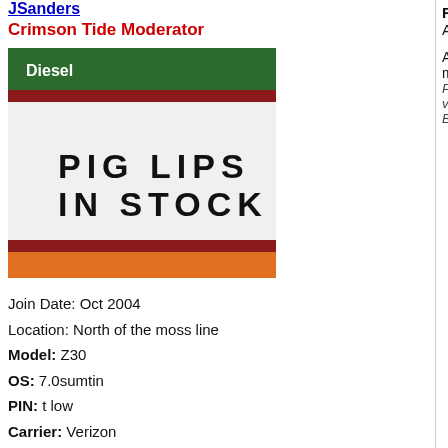JSanders
Crimson Tide Moderator
[Figure (photo): Photo of a store sign reading 'PIG LIPS IN STOCK']
Join Date: Oct 2004
Location: North of the moss line
Model: Z30
OS: 7.0sumtin
PIN: t low
Carrier: Verizon
Posts: 41,921
Offline
03-20-2012, 07:43 PM
daphne
BBF Spam Killer Moderator
Re: A
Anger m
Posted via Bl
Re: A
Locked i